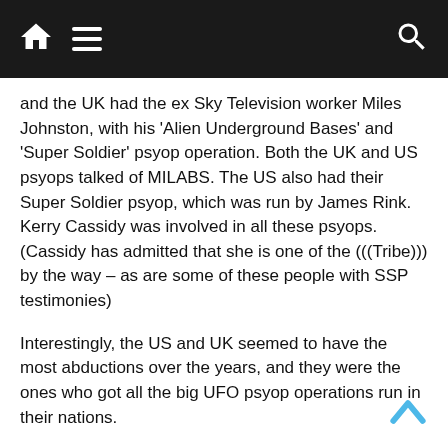Navigation bar with home, menu, and search icons
and the UK had the ex Sky Television worker Miles Johnston, with his 'Alien Underground Bases' and 'Super Soldier' psyop operation. Both the UK and US psyops talked of MILABS. The US also had their Super Soldier psyop, which was run by James Rink. Kerry Cassidy was involved in all these psyops. (Cassidy has admitted that she is one of the (((Tribe))) by the way – as are some of these people with SSP testimonies)
Interestingly, the US and UK seemed to have the most abductions over the years, and they were the ones who got all the big UFO psyop operations run in their nations.
These three psyops overlap somewhat. A quick overview:
Super Soldiers: elite troops and multidimensional